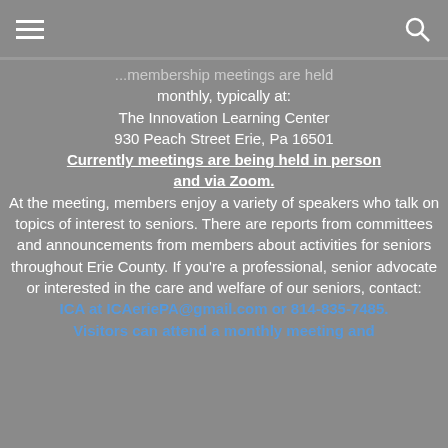[hamburger menu icon] [search icon]
...membership meetings are held monthly, typically at:
The Innovation Learning Center
930 Peach Street Erie, Pa 16501
Currently meetings are being held in person and via Zoom.
At the meeting, members enjoy a variety of speakers who talk on topics of interest to seniors. There are reports from committees and announcements from members about activities for seniors throughout Erie County. If you're a professional, senior advocate or interested in the care and welfare of our seniors, contact:
ICA at ICAeriePA@gmail.com or 814-835-7485.
Visitors can attend a monthly meeting and